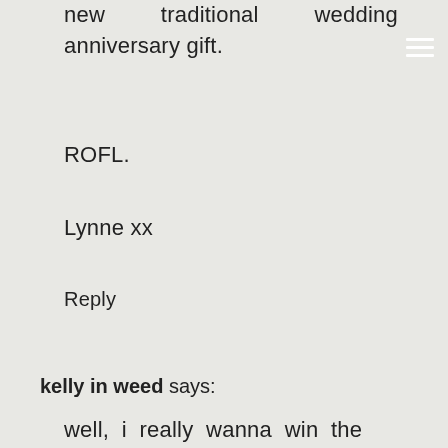new traditional wedding anniversary gift.
ROFL.
Lynne xx
Reply
kelly in weed says:
well, i really wanna win the